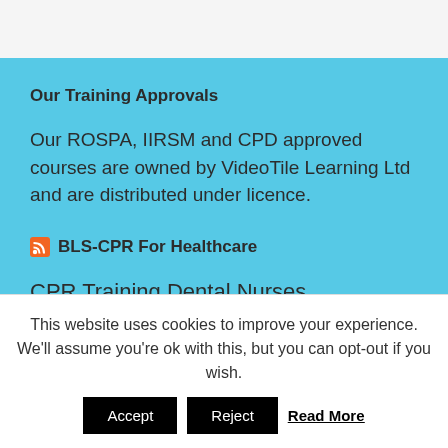Our Training Approvals
Our ROSPA, IIRSM and CPD approved courses are owned by VideoTile Learning Ltd and are distributed under licence.
BLS-CPR For Healthcare
CPR Training Dental Nurses
This website uses cookies to improve your experience. We'll assume you're ok with this, but you can opt-out if you wish.